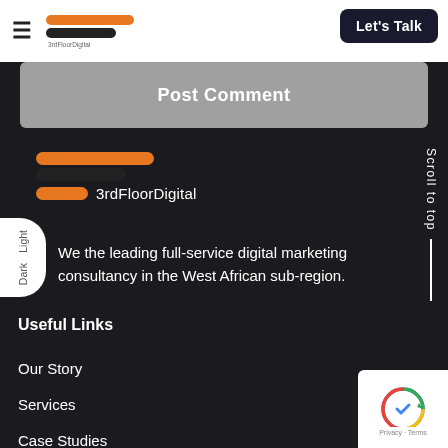3rdFloorDigital — Let's Talk
Post Comment
[Figure (logo): 3rdFloorDigital logo with orange and dark horizontal bars and text '3rdFloorDigital']
We are the leading full-service digital marketing consultancy in the West African sub-region.
Useful Links
Our Story
Services
Case Studies